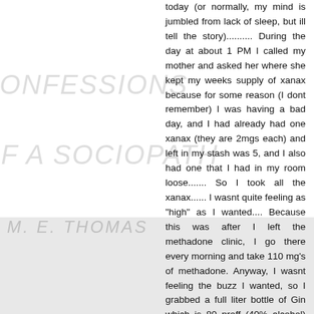today (or normally, my mind is jumbled from lack of sleep, but ill tell the story).......... During the day at about 1 PM I called my mother and asked her where she kept my weeks supply of xanax because for some reason (I dont remember) I was having a bad day, and I had already had one xanax (they are 2mgs each) and left in my stash was 5, and I also had one that I had in my room loose....... So I took all the xanax...... I wasnt quite feeling as "high" as I wanted.... Because this was after I left the methadone clinic, I go there every morning and take 110 mg's of methadone. Anyway, I wasnt feeling the buzz I wanted, so I grabbed a full liter bottle of Gin which is 80 proff (40% alcohol) and started making "Pickletinis" like a madman,(a pickletini is just a dirty martini but instead of olive brine you use the pickle brine, it kills the taste of the alcohol alot better so it helps me drink it faster) so my martini glass is a regular cocktail glass that holds 4.5 oz's of liqour in it.......... I would drink one every 10 mins, but Iam a big guy Iam 6'3 255 pounds......